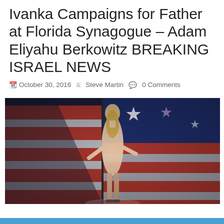Ivanka Campaigns for Father at Florida Synagogue – Adam Eliyahu Berkowitz BREAKING ISRAEL NEWS
October 30, 2016  Steve Martin  0 Comments
[Figure (photo): Ivanka Trump on a stage in a light beige dress, arms outstretched, with a large American flag display in the background.]